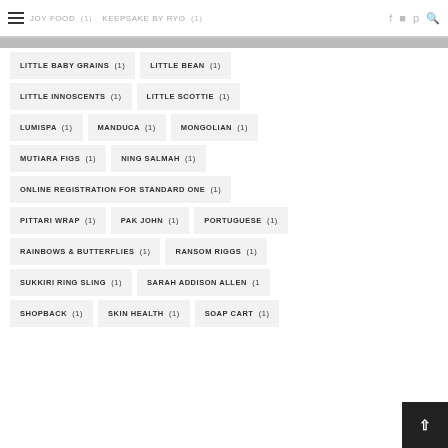JOY FOOD (1)  KEEPSAKE BY RYO (1)
LITTLE BABY GRAINS (1)
LITTLE BEAN (1)
LITTLE INNOSCENTS (1)
LITTLE SCOTTIE (1)
LUMISPA (1)
MANDUCA (1)
MONGOLIAN (1)
MUTIARA FIGS (1)
NING SALMAH (1)
ONLINE REGISTRATION FOR STANDARD ONE (1)
PITTARI WRAP (1)
PAK JOHN (1)
PORTUGUESE (1)
RAINBOWS & BUTTERFLIES (1)
RANSOM RIGGS (1)
SUKKIRI RING SLING (1)
SARAH ADDISON ALLEN (1)
SHOPBACK (1)
SKIN HEALTH (1)
SOAP CART (1)